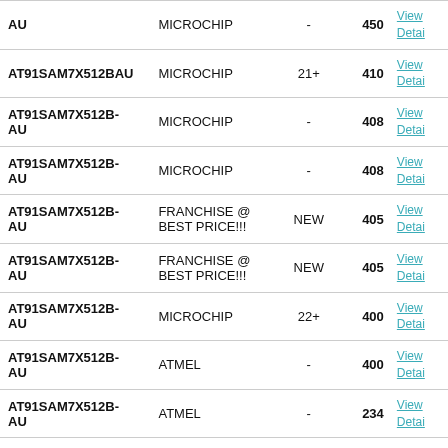| Part | Manufacturer | Stock | Qty | Link |
| --- | --- | --- | --- | --- |
| AU | MICROCHIP | - | 450 | View Details |
| AT91SAM7X512BAU | MICROCHIP | 21+ | 410 | View Details |
| AT91SAM7X512B-AU | MICROCHIP | - | 408 | View Details |
| AT91SAM7X512B-AU | MICROCHIP | - | 408 | View Details |
| AT91SAM7X512B-AU | FRANCHISE @ BEST PRICE!!! | NEW | 405 | View Details |
| AT91SAM7X512B-AU | FRANCHISE @ BEST PRICE!!! | NEW | 405 | View Details |
| AT91SAM7X512B-AU | MICROCHIP | 22+ | 400 | View Details |
| AT91SAM7X512B-AU | ATMEL | - | 400 | View Details |
| AT91SAM7X512B-AU | ATMEL | - | 234 | View Details |
| AT91SAM7X512B-AU | MICROCHIP | - | 200 | View Details |
| AT91SAM7X512B-AU | ATMEL | - | 180 | View Details |